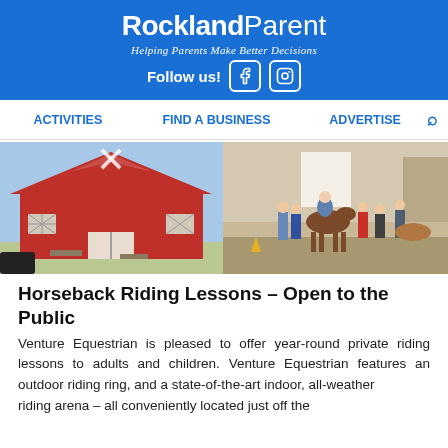Rockland Parent – Helping Parents Make Better Decisions – Follow us!
ACTIVITIES   FIND A BUSINESS   ADVERTISE
[Figure (photo): Two photos side by side: left shows a red barn building exterior; right shows children and adults with horses in an indoor riding arena.]
Horseback Riding Lessons – Open to the Public
Venture Equestrian is pleased to offer year-round private riding lessons to adults and children. Venture Equestrian features an outdoor riding ring, and a state-of-the-art indoor, all-weather riding arena – all conveniently located just off the